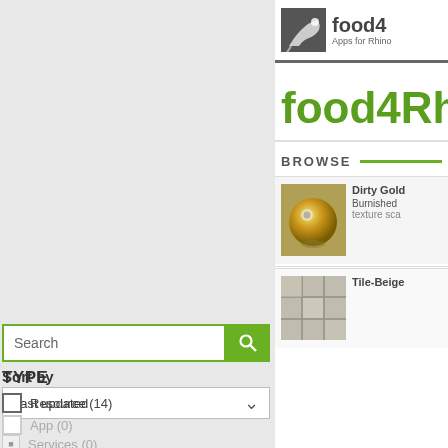[Figure (screenshot): Left gray panel of a website showing search box, Sort by dropdown (Last updated), and TYPE filter checkboxes (Resource (14), App (0), Services (0))]
[Figure (logo): food4Rhino logo with rhino icon, text 'food4' in dark gray and green, subtitle 'Apps for Rhino']
food4Rh
BROWSE
[Figure (photo): Dirty Gold / Burnished gold 3D sphere object with small circular emblem, texture sca...]
[Figure (photo): Tile-Beige product thumbnail showing tiled surface]